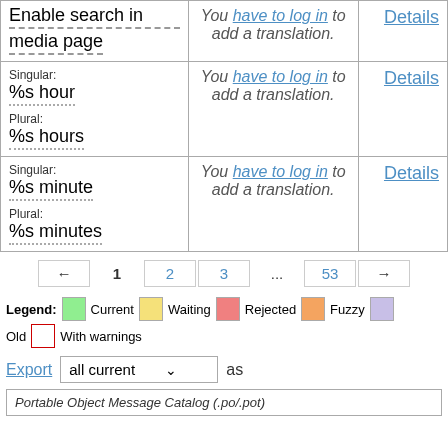| String | Translation | Action |
| --- | --- | --- |
| Enable search in media page | You have to log in to add a translation. | Details |
| Singular: %s hour
Plural: %s hours | You have to log in to add a translation. | Details |
| Singular: %s minute
Plural: %s minutes | You have to log in to add a translation. | Details |
← 1 2 3 ... 53 →
Legend: Current  Waiting  Rejected  Fuzzy  Old  With warnings
Export all current ∨ as
Portable Object Message Catalog (.po/.pot)